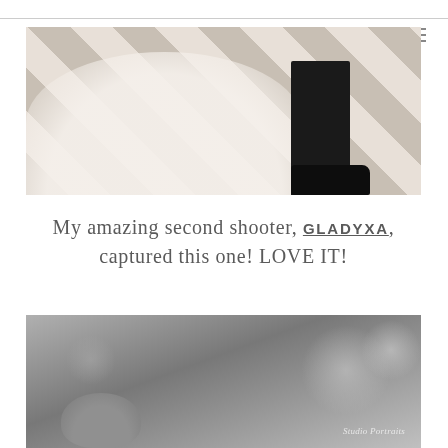[Figure (photo): Wedding photo showing bride in white lace dress and groom in black suit standing on a diamond-pattern checkered floor, shot from the waist down]
My amazing second shooter, GLADYXA, captured this one! LOVE IT!
[Figure (photo): Black and white wedding photo showing a couple, shot with bokeh background of trees, with a cursive watermark signature in the bottom right]